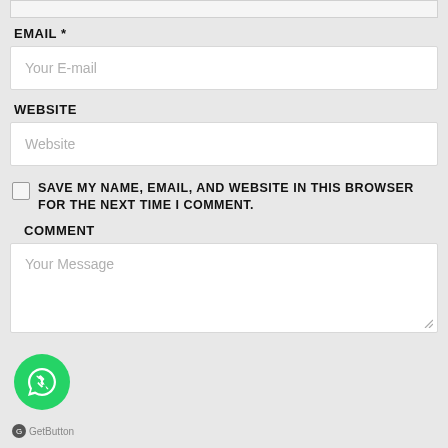EMAIL *
Your E-mail
WEBSITE
Website
SAVE MY NAME, EMAIL, AND WEBSITE IN THIS BROWSER FOR THE NEXT TIME I COMMENT.
COMMENT
Your Message
[Figure (logo): WhatsApp green circular button with phone/chat icon]
GetButton